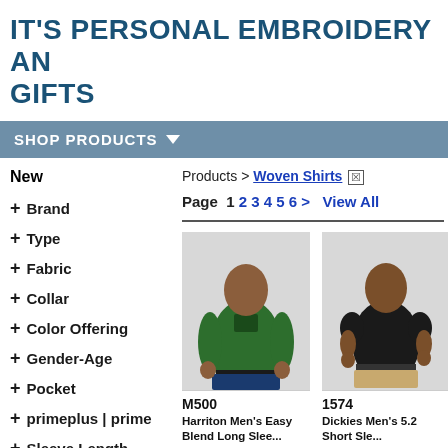IT'S PERSONAL EMBROIDERY AND GIFTS
SHOP PRODUCTS
New
+ Brand
+ Type
+ Fabric
+ Collar
+ Color Offering
+ Gender-Age
+ Pocket
+ primeplus | prime
+ Sleeve Length
+ Stain Resistant
Products > Woven Shirts ⊠
Page  1 2 3 4 5 6 >  View All
[Figure (photo): Man wearing a dark green long-sleeve woven shirt with navy pants]
M500
Harriton Men's Easy Blend Long Slee...
[Figure (photo): Man wearing a black short-sleeve woven shirt with khaki pants]
1574
Dickies Men's 5.2 Short Sle...